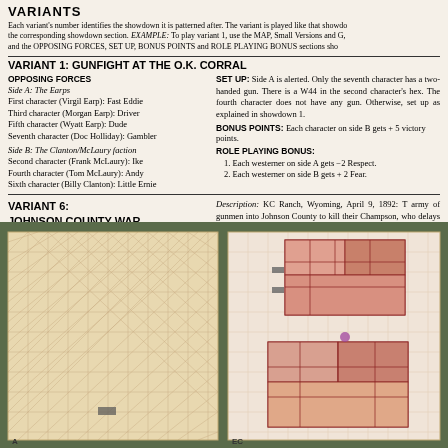VARIANTS
Each variant's number identifies the showdown it is patterned after. The variant is played like that showdown section. EXAMPLE: To play variant 1, use the MAP, Small Versions and G, and the OPPOSING FORCES, SET UP, BONUS POINTS and ROLE PLAYING BONUS sections sho
VARIANT 1: GUNFIGHT AT THE O.K. CORRAL
OPPOSING FORCES
Side A: The Earps
First character (Virgil Earp): Fast Eddie
Third character (Morgan Earp): Driver
Fifth character (Wyatt Earp): Dude
Seventh character (Doc Holliday): Gambler
Side B: The Clanton/McLaury faction
Second character (Frank McLaury): Ike
Fourth character (Tom McLaury): Andy
Sixth character (Billy Clanton): Little Ernie
SET UP: Side A is alerted. Only the seventh character has a two-handed gun. There is a W44 in the second character's hex. The fourth character does not have any gun. Otherwise, set up as explained in showdown 1.
BONUS POINTS: Each character on side B gets +5 victory points.
ROLE PLAYING BONUS:
1. Each westerner on side A gets -2 Respect.
2. Each westerner on side B gets +2 Fear.
VARIANT 6:
JOHNSON COUNTY WAR
Description: KC Ranch, Wyoming, April 9, 1892: T army of gunmen into Johnson County to kill their Champson, who delays them long enough to alert gunmen from the enraged settlers. The full showdo
OPPOSING FORCES
[Figure (photo): Two game maps photographed on a green background. Left map shows a hexagonal grid (tan/beige color, empty). Right map shows a hexagonal grid with building floor plans overlaid in pink/red, showing room layouts.]